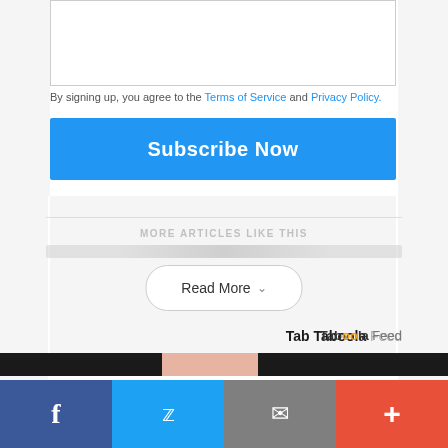By signing up, you agree to the Terms of Service and Privacy Policy.
Subscribe Now
MORE ARTICLES LIKE THIS
Read More
[Figure (logo): Taboola Feed logo text]
[Figure (photo): Preview strip showing partial image of a person]
[Figure (infographic): Social sharing bar with Facebook, Twitter, email, and plus buttons]